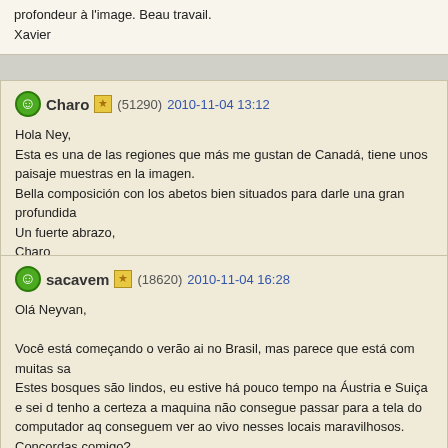profondeur à l'image. Beau travail.
Xavier
Charo (51290) 2010-11-04 13:12
Hola Ney,
Esta es una de las regiones que más me gustan de Canadá, tiene unos paisaje muestras en la imagen.
Bella composición con los abetos bien situados para darle una gran profundida
Un fuerte abrazo,
Charo
sacavem (18620) 2010-11-04 16:28
Olá Neyvan,
Você está começando o verão ai no Brasil, mas parece que está com muitas sa
Estes bosques são lindos, eu estive há pouco tempo na Áustria e Suiça e sei d tenho a certeza a maquina não consegue passar para a tela do computador aq conseguem ver ao vivo nesses locais maravilhosos. Concordas comigo?
Um abraço,
Filipe